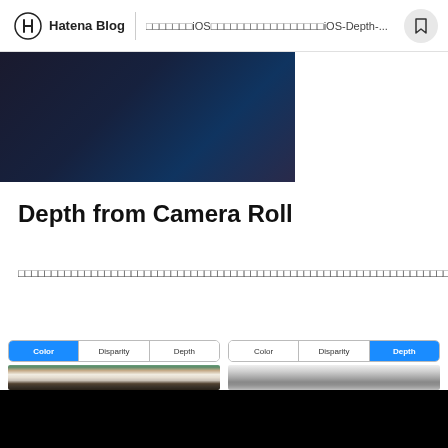Hatena Blog | □□□□□□□iOS□□□□□□□□□□□□□□□□iOS-Depth-...
[Figure (photo): Dark blue/navy colored partial photo at top left]
Depth from Camera Roll
□□□□□□□□□□□□□□□□□□□□□□□□□□□□□□□□□□□□□□□□□□□□□□□□□□□□□□□□□□□□□□□□□□□□□□□□□□□□□□
[Figure (screenshot): Two iOS app screenshots side by side showing Color/Disparity/Depth tabs. Left screenshot shows Color tab active with baby in crib photo. Right screenshot shows Depth tab active with depth-map grayscale rendering.]